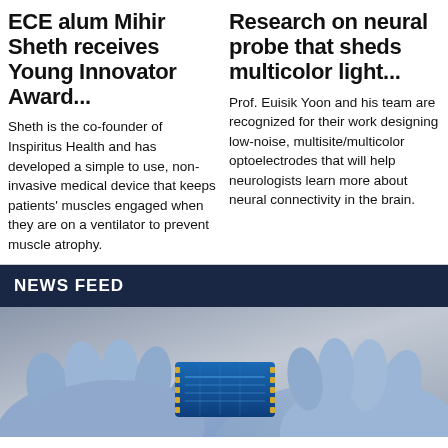ECE alum Mihir Sheth receives Young Innovator Award...
Sheth is the co-founder of Inspiritus Health and has developed a simple to use, non-invasive medical device that keeps patients' muscles engaged when they are on a ventilator to prevent muscle atrophy.
Research on neural probe that sheds multicolor light...
Prof. Euisik Yoon and his team are recognized for their work designing low-noise, multisite/multicolor optoelectrodes that will help neurologists learn more about neural connectivity in the brain.
NEWS FEED
[Figure (photo): Blue-gloved hands holding a small blue electronic device or neural probe chip]